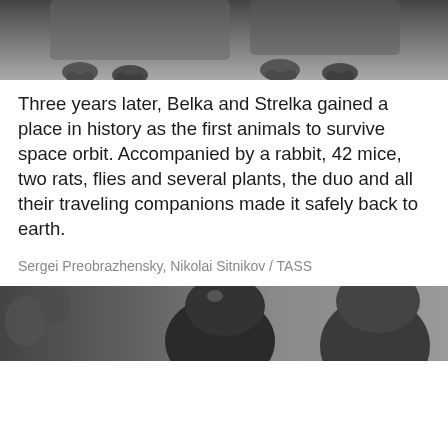[Figure (photo): Black and white photograph showing the lower body/paws of dogs on what appears to be a surface, cropped at the top of the page]
Three years later, Belka and Strelka gained a place in history as the first animals to survive space orbit. Accompanied by a rabbit, 42 mice, two rats, flies and several plants, the duo and all their traveling companions made it safely back to earth.
Sergei Preobrazhensky, Nikolai Sitnikov / TASS
[Figure (photo): Black and white photograph showing partial view of people, cropped at the bottom of the visible area]